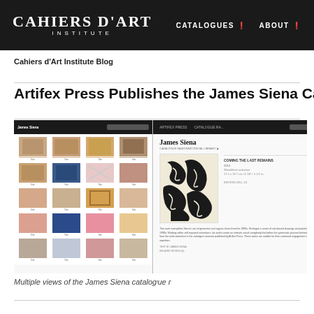CAHIERS D'ART INSTITUTE | CATALOGUES | ABOUT
Cahiers d'Art Institute Blog
Artifex Press Publishes the James Siena Catalogue
[Figure (screenshot): Multiple views of the James Siena catalogue raisonné website, showing a grid of artworks on the left, an artwork detail page in the center, and sidebar thumbnails on the right.]
Multiple views of the James Siena catalogue r